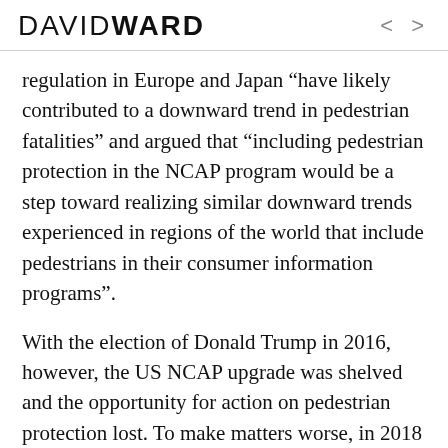DAVID WARD
regulation in Europe and Japan “have likely contributed to a downward trend in pedestrian fatalities” and argued that “including pedestrian protection in the NCAP program would be a step toward realizing similar downward trends experienced in regions of the world that include pedestrians in their consumer information programs”.
With the election of Donald Trump in 2016, however, the US NCAP upgrade was shelved and the opportunity for action on pedestrian protection lost. To make matters worse, in 2018 President Trump attacked the Jap...